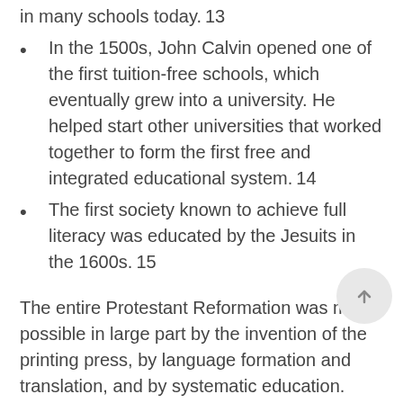in many schools today. 13
In the 1500s, John Calvin opened one of the first tuition-free schools, which eventually grew into a university. He helped start other universities that worked together to form the first free and integrated educational system. 14
The first society known to achieve full literacy was educated by the Jesuits in the 1600s. 15
The entire Protestant Reformation was made possible in large part by the invention of the printing press, by language formation and translation, and by systematic education. Christians want everyone to be able